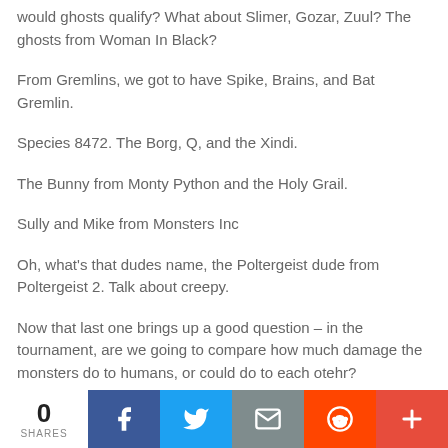would ghosts qualify? What about Slimer, Gozar, Zuul? The ghosts from Woman In Black?
From Gremlins, we got to have Spike, Brains, and Bat Gremlin.
Species 8472. The Borg, Q, and the Xindi.
The Bunny from Monty Python and the Holy Grail.
Sully and Mike from Monsters Inc
Oh, what's that dudes name, the Poltergeist dude from Poltergeist 2. Talk about creepy.
Now that last one brings up a good question – in the tournament, are we going to compare how much damage the monsters do to humans, or could do to each otehr?
0 SHARES | Facebook | Twitter | Email | Reddit | More